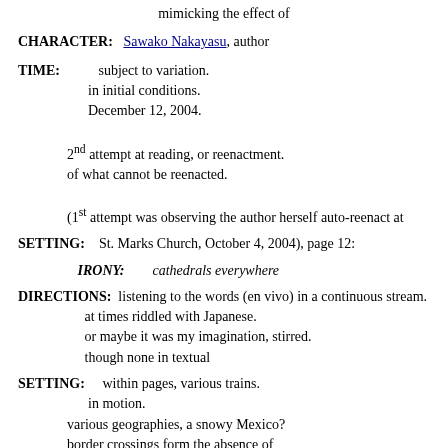mimicking the effect of
CHARACTER:  Sawako Nakayasu, author
TIME:          subject to variation.
                   in initial conditions.
                   December 12, 2004.
              2nd attempt at reading, or reenactment.
              of what cannot be reenacted.
              (1st attempt was observing the author herself auto-reenact at
SETTING:     St. Marks Church, October 4, 2004), page 12:
IRONY:        cathedrals everywhere
DIRECTIONS:  listening to the words (en vivo) in a continuous stream.
                   at times riddled with Japanese.
                   or maybe it was my imagination, stirred.
                   though none in textual
SETTING:     within pages, various trains.
                   in motion.
              various geographies, a snowy Mexico?
              border crossings form the absence of